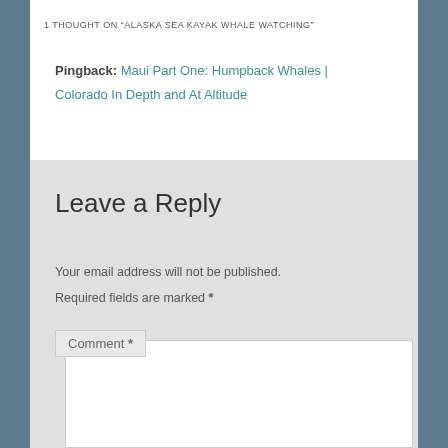1 THOUGHT ON “ALASKA SEA KAYAK WHALE WATCHING”
Pingback: Maui Part One: Humpback Whales | Colorado In Depth and At Altitude
Leave a Reply
Your email address will not be published. Required fields are marked *
Comment *